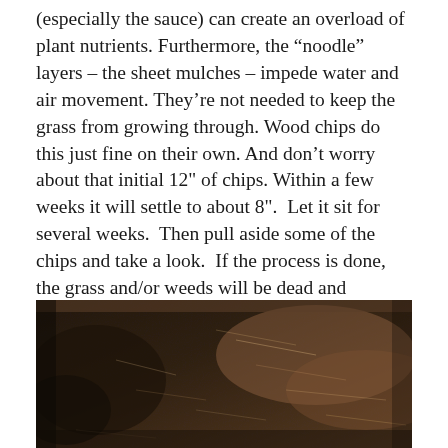(especially the sauce) can create an overload of plant nutrients. Furthermore, the “noodle” layers – the sheet mulches – impede water and air movement. They’re not needed to keep the grass from growing through. Wood chips do this just fine on their own. And don’t worry about that initial 12” of chips. Within a few weeks it will settle to about 8”.  Let it sit for several weeks.  Then pull aside some of the chips and take a look.  If the process is done, the grass and/or weeds will be dead and decomposing – a natural compost layer.  You can then plant whatever you like.  Reuse the chips somewhere else in your garden.
[Figure (photo): Close-up photograph of wood chip mulch covering the ground, showing dark decomposing organic material with some lighter fibrous strands visible.]